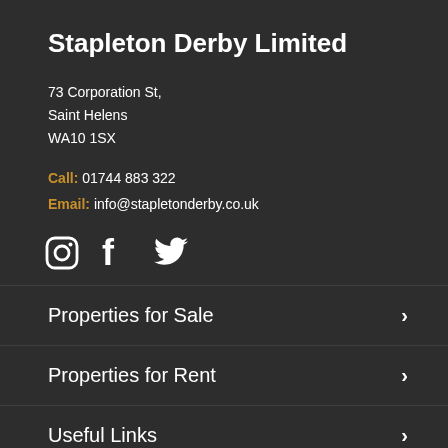Stapleton Derby Limited
73 Corporation St,
Saint Helens
WA10 1SX
Call: 01744 883 322
Email: info@stapletonderby.co.uk
[Figure (illustration): Social media icons: Instagram, Facebook, Twitter]
Properties for Sale
Properties for Rent
Useful Links